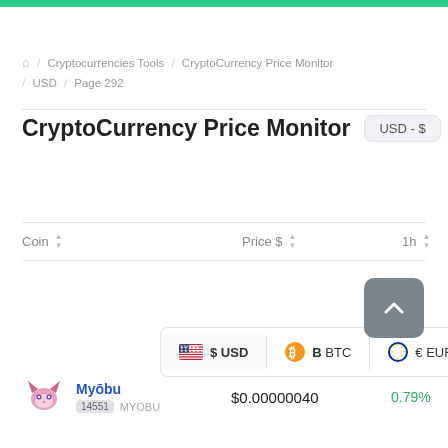🏠 / Cryptocurrencies Tools / CryptoCurrency Price Monitor / USD / Page 292
CryptoCurrency Price Monitor USD - $
[Figure (screenshot): Currency selection tabs: $ USD (selected), ₿ BTC, € EUR, More]
| Coin | Price $ | 1h |
| --- | --- | --- |
| Myōbu 14551 MYOBU | $0.00000040 | 0.79% |